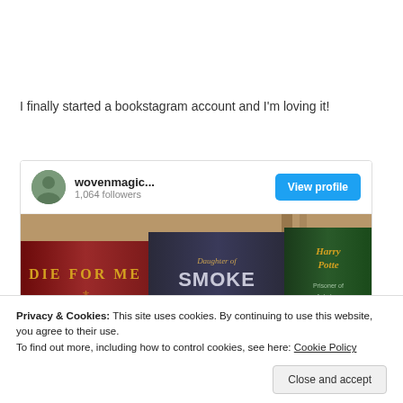I finally started a bookstagram account and I'm loving it!
[Figure (screenshot): Embedded Instagram profile card for 'wovenmagic...' with 1,064 followers, a View profile button, and a photo of book spines including 'Die for Me', 'Daughter of Smoke', and 'Harry Potter Prisoner of Azkaban']
Privacy & Cookies: This site uses cookies. By continuing to use this website, you agree to their use. To find out more, including how to control cookies, see here: Cookie Policy
Close and accept